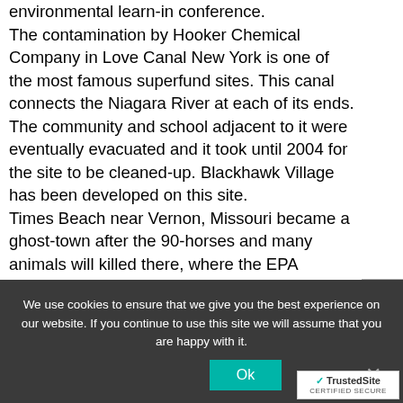environmental learn-in conference. The contamination by Hooker Chemical Company in Love Canal New York is one of the most famous superfund sites. This canal connects the Niagara River at each of its ends. The community and school adjacent to it were eventually evacuated and it took until 2004 for the site to be cleaned-up. Blackhawk Village has been developed on this site. Times Beach near Vernon, Missouri became a ghost-town after the 90-horses and many animals will killed there, where the EPA determined that the dust control oil used on its dirt roads were contaminated with Dioxin. This superfund site has been completely restored
We use cookies to ensure that we give you the best experience on our website. If you continue to use this site we will assume that you are happy with it.